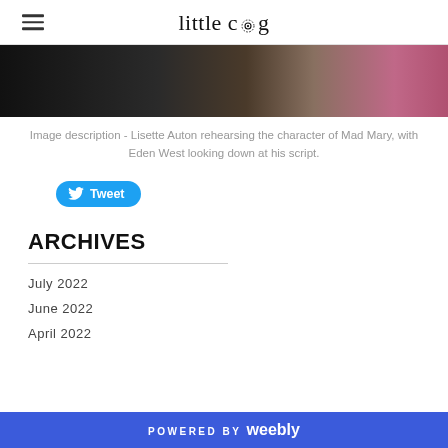little cog
[Figure (photo): A photo strip showing Lisette Auton rehearsing the character of Mad Mary, with Eden West looking down at his script. Dark background with a person in a sparkly top on the left and a pink-clad figure on the right.]
Image description - Lisette Auton rehearsing the character of Mad Mary, with Eden West looking down at his script.
[Figure (other): Twitter Tweet button with bird icon]
ARCHIVES
July 2022
June 2022
April 2022
POWERED BY weebly